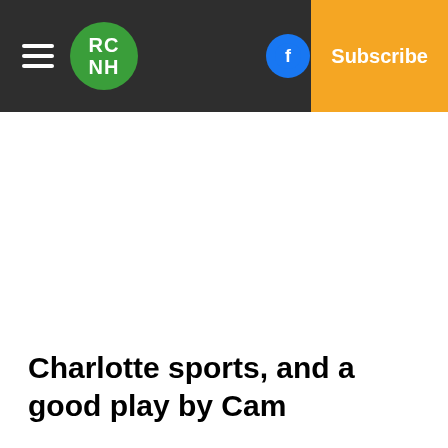RCNH | Log In | Subscribe
Charlotte sports, and a good play by Cam